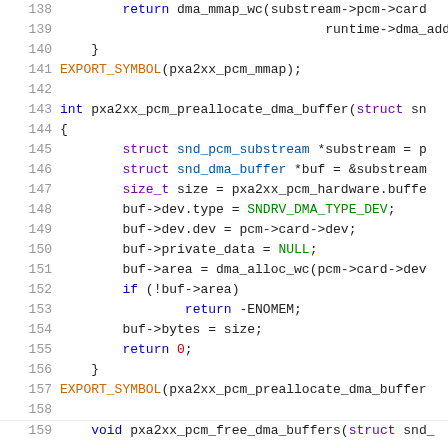[Figure (screenshot): Source code listing showing lines 138-158 of a C file (pxa2xx PCM audio driver). Syntax-highlighted code with line numbers in gray on the left, code in various colors (blue keywords, purple types, orange macros, black identifiers). Shows functions pxa2xx_pcm_mmap and pxa2xx_pcm_preallocate_dma_buffer.]